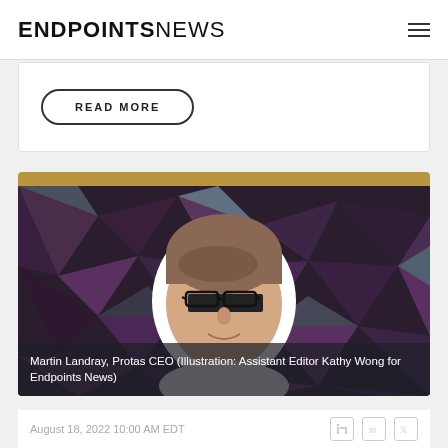ENDPOINTS NEWS
READ MORE
[Figure (illustration): Illustrated portrait of Martin Landray against a dark geometric purple polygon background with a gold accent bar at top]
Martin Landray, Protas CEO (Illustration: Assistant Editor Kathy Wong for Endpoints News)
August 18, 2022 10:00 AM EDT